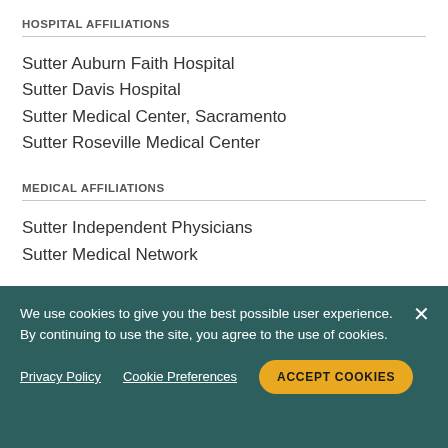HOSPITAL AFFILIATIONS
Sutter Auburn Faith Hospital
Sutter Davis Hospital
Sutter Medical Center, Sacramento
Sutter Roseville Medical Center
MEDICAL AFFILIATIONS
Sutter Independent Physicians
Sutter Medical Network
Practice Locations
We use cookies to give you the best possible user experience. By continuing to use the site, you agree to the use of cookies.
Privacy Policy  Cookie Preferences  ACCEPT COOKIES